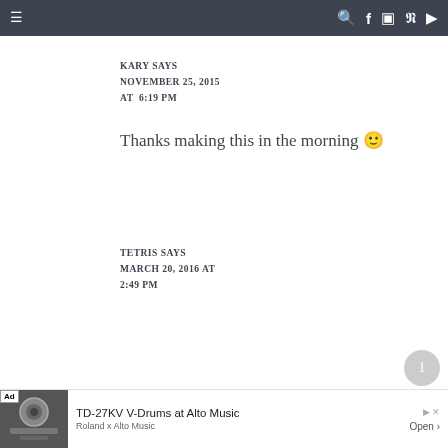≡  🔍 f 📷 𝗽 ▶
KARY SAYS
NOVEMBER 25, 2015 AT 6:19 PM
Thanks making this in the morning 🙂
TETRIS SAYS
MARCH 20, 2016 AT 2:49 PM
[Figure (other): Advertisement banner for TD-27KV V-Drums at Alto Music, Roland x Alto Music, with Open button]